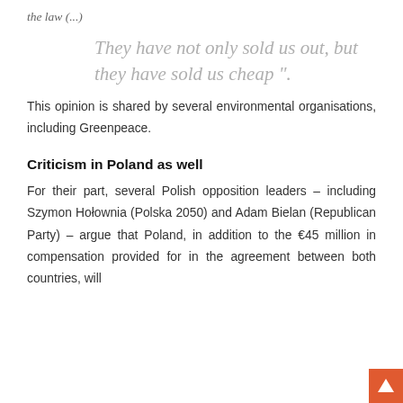the law (...)
They have not only sold us out, but they have sold us cheap".
This opinion is shared by several environmental organisations, including Greenpeace.
Criticism in Poland as well
For their part, several Polish opposition leaders – including Szymon Hołownia (Polska 2050) and Adam Bielan (Republican Party) – argue that Poland, in addition to the €45 million in compensation provided for in the agreement between both countries, will